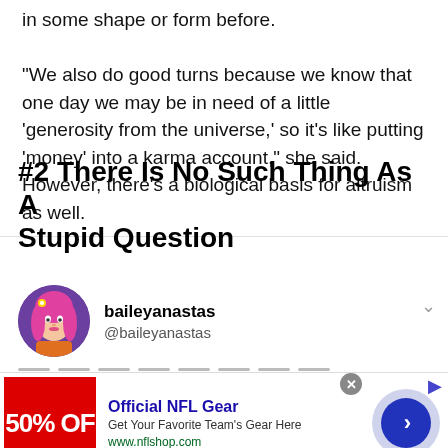in some shape or form before. "We also do good turns because we know that one day we may be in need of a little 'generosity from the universe,' so it's like putting 'money' into a karma account," she said. However, there's a biological basis for altruism as well.
#2 There Is No Such Thing As A Stupid Question
[Figure (illustration): Twitter/social media post from user baileyanastas (@baileyanastas) with circular avatar of illustrated woman with pink hair]
[Figure (screenshot): Advertisement banner for Official NFL Gear showing 50% Off red image, ad title 'Official NFL Gear', description 'Get Your Favorite Team's Gear Here', URL 'www.nflshop.com', with blue circle arrow button and close X button]